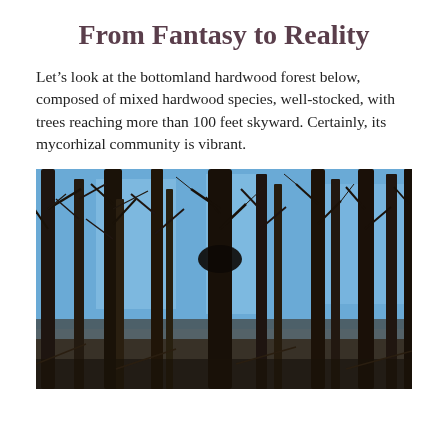From Fantasy to Reality
Let’s look at the bottomland hardwood forest below, composed of mixed hardwood species, well-stocked, with trees reaching more than 100 feet skyward. Certainly, its mycorhizal community is vibrant.
[Figure (photo): Photograph of a bottomland hardwood forest in winter, showing tall bare deciduous trees with dark trunks against a blue sky, with intertwining bare branches.]